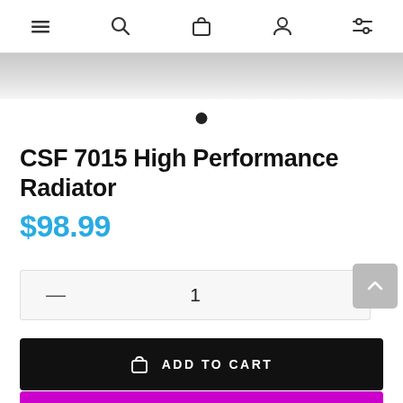Navigation bar with menu, search, cart, account, and filter icons
[Figure (screenshot): Gray gradient image strip (product image area, partially visible)]
CSF 7015 High Performance Radiator
$98.99
Quantity selector showing: — 1
ADD TO CART
BUY IT NOW